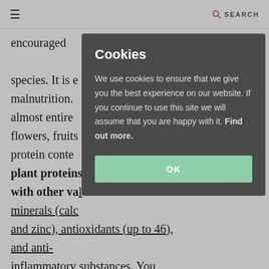≡    SEARCH
encouraged... species. It is e... malnutrition. almost entire... flowers, fruits... protein conte... plant proteins... with other val... minerals (calc... and zinc), antioxidants (up to 46), and anti-inflammatory substances. You may have heard about the benefits of some of the latter, like caffeic acid and quercetin. This is one of the best natural fat-burning superfoods that you can find.
[Figure (screenshot): Cookie consent modal dialog with dark grey background. Title 'Cookies', body text about cookie usage policy, and a green OK button.]